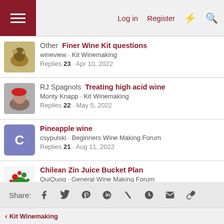Log in  Register
Other  Finer Wine Kit questions | wineview · Kit Winemaking | Replies 23 · Apr 10, 2022
RJ Spagnols  Treating high acid wine | Monty Knapp · Kit Winemaking | Replies 22 · May 5, 2022
Pineapple wine | csypulski · Beginners Wine Making Forum | Replies 21 · Aug 11, 2022
Chilean Zin Juice Bucket Plan | QuiQuog · General Wine Making Forum | Replies 43 · May 19, 2022
Share:
Kit Winemaking